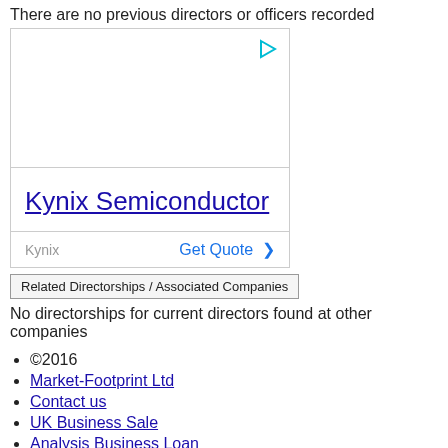There are no previous directors or officers recorded
[Figure (screenshot): Advertisement box for Kynix Semiconductor with a play button icon at top right, the brand name 'Kynix Semiconductor' as a link, and a footer showing 'Kynix' label and 'Get Quote >' link.]
Related Directorships / Associated Companies
No directorships for current directors found at other companies
©2016
Market-Footprint Ltd
Contact us
UK Business Sale
Analysis Business Loan
Download list of VAT